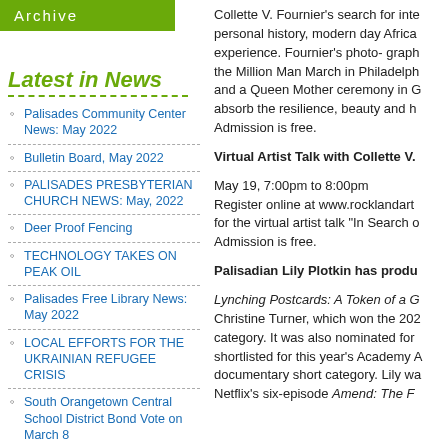Archive
Latest in News
Palisades Community Center News: May 2022
Bulletin Board, May 2022
PALISADES PRESBYTERIAN CHURCH NEWS: May, 2022
Deer Proof Fencing
TECHNOLOGY TAKES ON PEAK OIL
Palisades Free Library News: May 2022
LOCAL EFFORTS FOR THE UKRAINIAN REFUGEE CRISIS
South Orangetown Central School District Bond Vote on March 8
Palisades Community Center News: March 2022
Collette V. Fournier's search for inte personal history, modern day Africa experience. Fournier's photo- graph the Million Man March in Philadelph and a Queen Mother ceremony in G absorb the resilience, beauty and h Admission is free.
Virtual Artist Talk with Collette V.
May 19, 7:00pm to 8:00pm
Register online at www.rocklandart for the virtual artist talk "In Search o Admission is free.
Palisadian Lily Plotkin has produ
Lynching Postcards: A Token of a G Christine Turner, which won the 202 category. It was also nominated for shortlisted for this year's Academy A documentary short category. Lily wa Netflix's six-episode Amend: The F